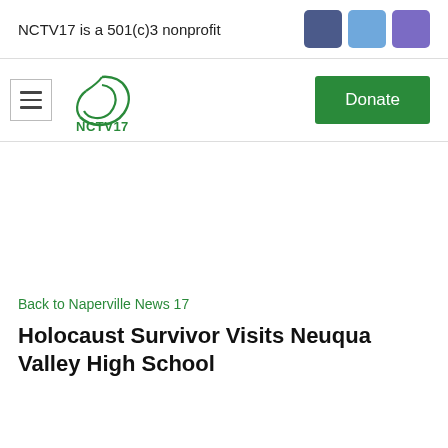NCTV17 is a 501(c)3 nonprofit
[Figure (illustration): Three social media icon squares: dark blue, light blue, and purple/violet]
[Figure (logo): NCTV17 logo: green swoosh/leaf icon above the text NCTV17]
[Figure (other): Donate button (green rectangle with white text)]
Back to Naperville News 17
Holocaust Survivor Visits Neuqua Valley High School